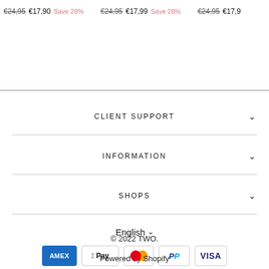€24,95 €17,90 Save 28%   €24,95 €17,99 Save 28%   €24,95 €17,9
CLIENT SUPPORT
INFORMATION
SHOPS
English
[Figure (other): Payment method icons: American Express, Apple Pay, Mastercard, PayPal, Visa]
© 2022 TWO.
Powered by Shopify